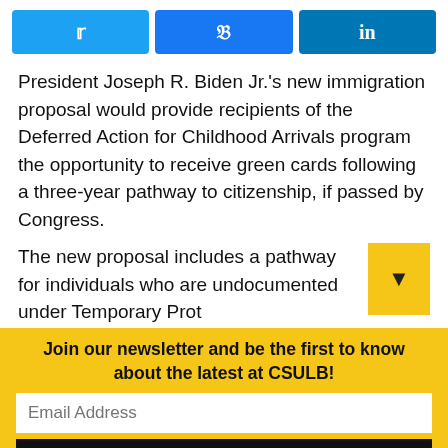[Figure (other): Social share buttons: Twitter, Facebook, LinkedIn]
President Joseph R. Biden Jr.'s new immigration proposal would provide recipients of the Deferred Action for Childhood Arrivals program the opportunity to receive green cards following a three-year pathway to citizenship, if passed by Congress.
The new proposal includes a pathway for individuals who are undocumented under Temporary Prot…
Join our newsletter and be the first to know about the latest at CSULB!